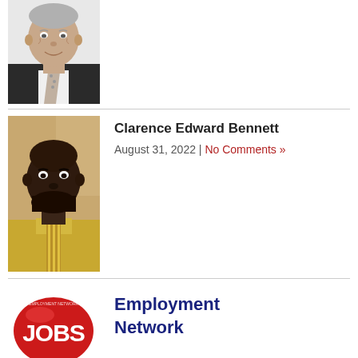[Figure (photo): Black and white portrait photo of an older white man in a suit and tie, cropped at the top of the page]
[Figure (photo): Color portrait photo of a Black man with a beard, wearing a yellow/gold shirt and striped tie]
Clarence Edward Bennett
August 31, 2022 | No Comments »
[Figure (logo): JOBS red circular logo button with white text reading JOBS]
Employment Network